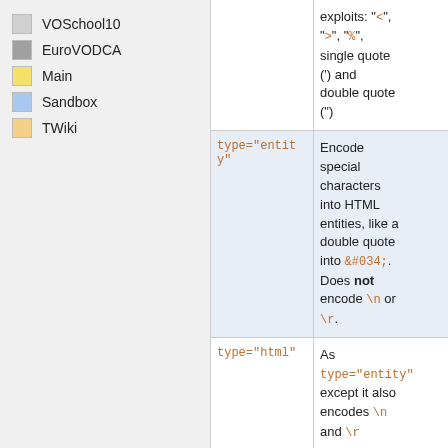VOSchool10
EuroVODCA
Main
Sandbox
TWiki
| Parameter | Description |
| --- | --- |
|  | exploits: "<", ">", "%", single quote (') and double quote (") |
| type="entity" | Encode special characters into HTML entities, like a double quote into &#034;. Does not encode \n or \r. |
| type="html" | As type="entity" except it also encodes \n and \r |